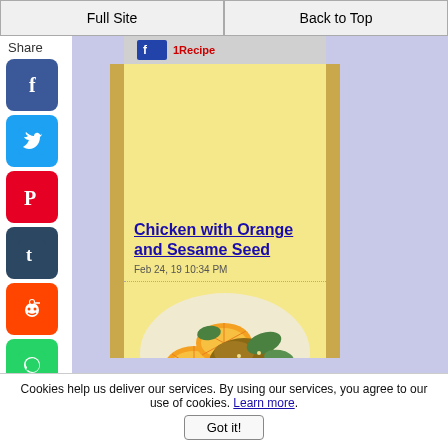Full Site | Back to Top
Share
[Figure (screenshot): Partial top image strip showing a logo/banner]
[Figure (photo): Food photo: Chicken with orange slices and sesame seed dish on a plate]
Chicken with Orange and Sesame Seed
Feb 24, 19 10:34 PM
Cookies help us deliver our services. By using our services, you agree to our use of cookies. Learn more. Got it!